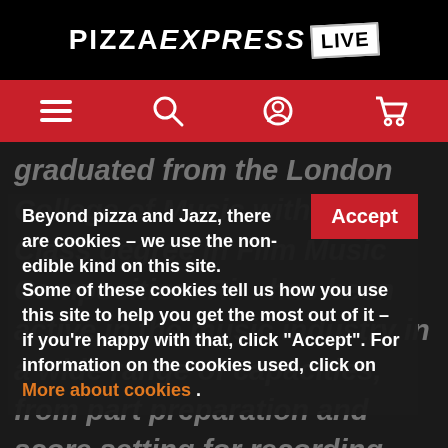PIZZAEXPRESS LIVE
[Figure (other): Red navigation bar with hamburger menu, search, user account, and cart icons]
graduated from the London College of Music with a First-Class degree in Film Music Composition. Ri... has been active in the music industry in a wide range of capacities, from part preparation and score setting for recording sessions at Dean Street St... for short and feature length films. He is also the current recipient of a Royal College of Music Scholarship where
Beyond pizza and Jazz, there are cookies – we use the non-edible kind on this site.
Some of these cookies tell us how you use this site to help you get the most out of it – if you're happy with that, click "Accept". For information on the cookies used, click on More about cookies .